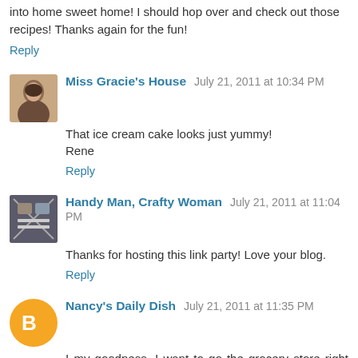into home sweet home! I should hop over and check out those recipes! Thanks again for the fun!
Reply
Miss Gracie's House  July 21, 2011 at 10:34 PM
That ice cream cake looks just yummy!
Rene
Reply
Handy Man, Crafty Woman  July 21, 2011 at 11:04 PM
Thanks for hosting this link party! Love your blog.
Reply
Nancy's Daily Dish  July 21, 2011 at 11:35 PM
I my goodness, I want to go the grocery store right NOW to get the ingredients to make this. Seriously, I'm contemplating going and it's almost midnight!